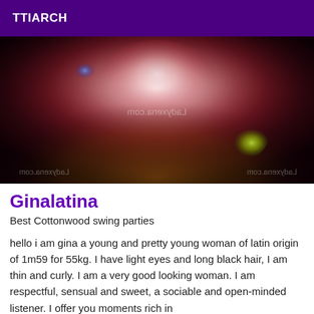TTIARCH
[Figure (photo): Blurry dark reddish image with bokeh light effects, watermark text 'Ladyxena.com' visible mirrored at center, bottom-left and bottom-right corners]
Ginalatina
Best Cottonwood swing parties
hello i am gina a young and pretty young woman of latin origin of 1m59 for 55kg. I have light eyes and long black hair, I am thin and curly. I am a very good looking woman. I am respectful, sensual and sweet, a sociable and open-minded listener. I offer you moments rich in